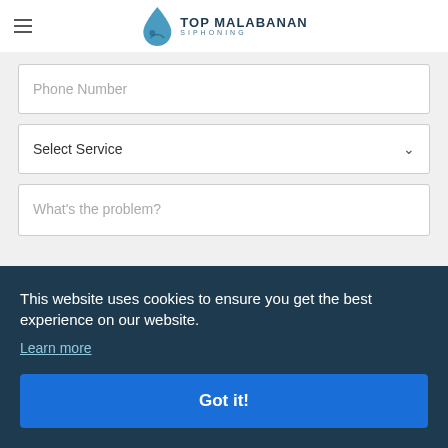TOP MALABANAN SIPHONING
Phone Number
Select Service
What's the problem?
This website uses cookies to ensure you get the best experience on our website.
Learn more
Got it!